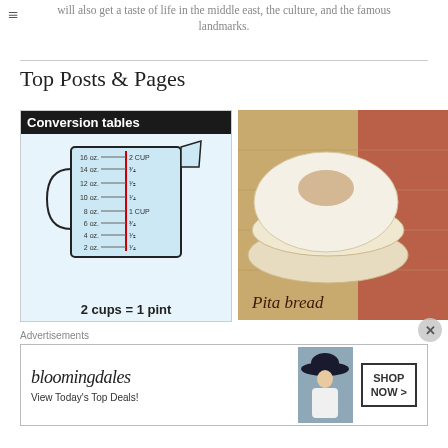will also get a taste of life in the middle east, the culture, and the famous landmarks.
Top Posts & Pages
[Figure (illustration): Conversion tables infographic showing a measuring cup with oz and cup markings, text '2 cups = 1 pint']
[Figure (photo): Photo of stacked pita bread on a wooden cutting board with red fabric background, text 'Pita bread']
Advertisements
[Figure (illustration): Bloomingdale's advertisement banner: 'View Today's Top Deals!' with SHOP NOW button and woman in hat image]